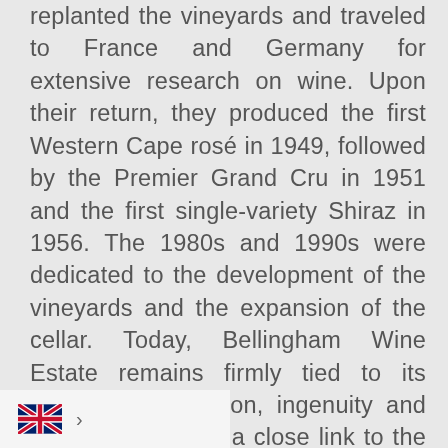replanted the vineyards and traveled to France and Germany for extensive research on wine. Upon their return, they produced the first Western Cape rosé in 1949, followed by the Premier Grand Cru in 1951 and the first single-variety Shiraz in 1956. The 1980s and 1990s were dedicated to the development of the vineyards and the expansion of the cellar. Today, Bellingham Wine Estate remains firmly tied to its history of innovation, ingenuity and foresight, but with a close link to the 21st century, producing contemporary, structured wines with an unmistakable sense of place and style from the Western Cape in South Africa. Bellingham's philosophy revolves around vineyard work. Only the finest grapes are sourced, and then accompanied from the vineyard to the bottle, the natural characteristics of the individual grapes as much as possible. The
[Figure (other): UK flag icon (Union Jack) with a chevron arrow, shown in a light grey bar at the bottom left of the page, likely a language selector or navigation element.]